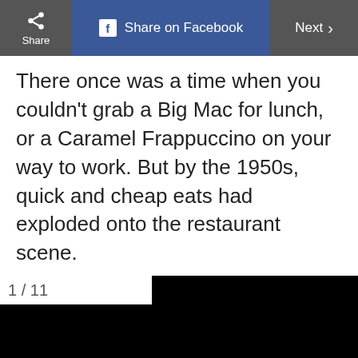Share | Share on Facebook | Next >
There once was a time when you couldn't grab a Big Mac for lunch, or a Caramel Frappuccino on your way to work. But by the 1950s, quick and cheap eats had exploded onto the restaurant scene.
[Figure (photo): A large black rectangle representing a photo placeholder with a '1/11' counter label in the upper left.]
ADVERTISEMENT